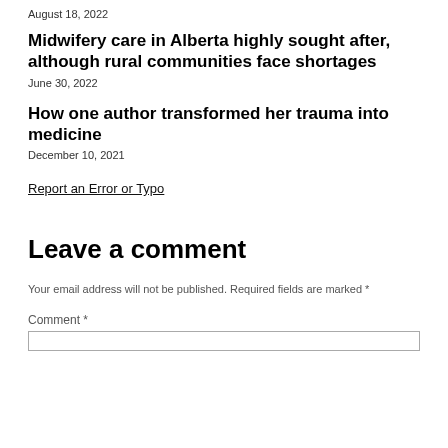August 18, 2022
Midwifery care in Alberta highly sought after, although rural communities face shortages
June 30, 2022
How one author transformed her trauma into medicine
December 10, 2021
Report an Error or Typo
Leave a comment
Your email address will not be published. Required fields are marked *
Comment *